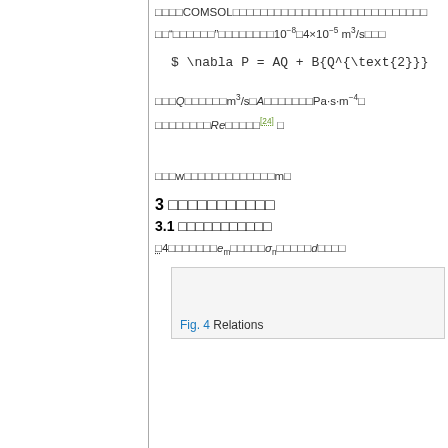□□□□COMSOL□□□□□□□□□□□□□□□□□□□□□□□
□□"□□□□□□"□□□□□□□□□□10^-8 □4×10^-5 m³/s□□□□
□□□Q□□□□□□m³/s□A□□□□□□□Pa·s·m⁻⁴□
□□□□□□□□□Re□□□□□[24] □
□□□w□□□□□□□□□□□□□m□
3 □□□□□□□□□□□
3.1 □□□□□□□□□□□
□4□□□□□□□e_m□□□□□σ_n□□□□□d□□□□
[Figure (other): Figure 4 Relations - partial figure box visible at bottom of page]